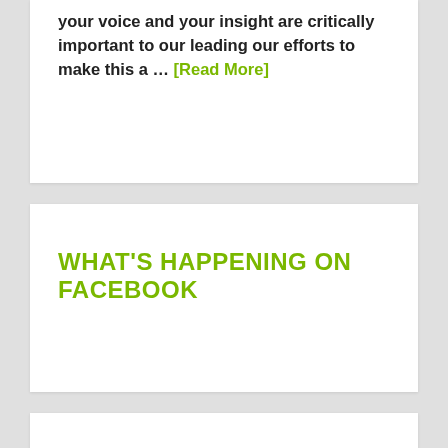your voice and your insight are critically important to our leading our efforts to make this a … [Read More]
WHAT'S HAPPENING ON FACEBOOK
[Figure (logo): East Town Business Partnership logo — two overlapping squares (outer black, inner with yellow-green fill) beside the text 'east town minneapolis' and 'EAST TOWN BUSINESS PARTNERSHIP']